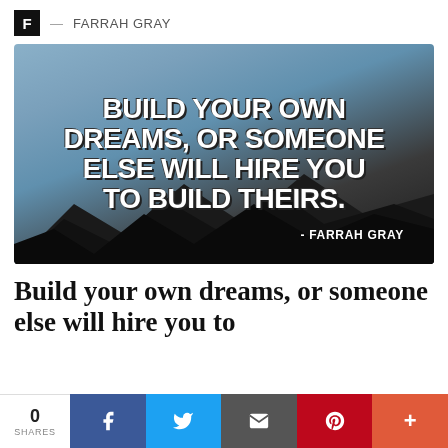F — FARRAH GRAY
[Figure (photo): Motivational quote image over mountain landscape: 'BUILD YOUR OWN DREAMS, OR SOMEONE ELSE WILL HIRE YOU TO BUILD THEIRS. - FARRAH GRAY']
Build your own dreams, or someone else will hire you to
0 SHARES | Facebook | Twitter | Email | Pinterest | More